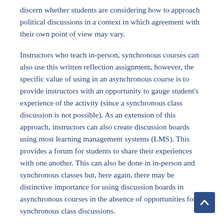discern whether students are considering how to approach political discussions in a context in which agreement with their own point of view may vary.
Instructors who teach in-person, synchronous courses can also use this written reflection assignment, however, the specific value of using in an asynchronous course is to provide instructors with an opportunity to gauge student's experience of the activity (since a synchronous class discussion is not possible). As an extension of this approach, instructors can also create discussion boards using most learning management systems (LMS). This provides a forum for students to share their experiences with one another. This can also be done in in-person and synchronous classes but, here again, there may be distinctive importance for using discussion boards in asynchronous courses in the absence of opportunities for synchronous class discussions.